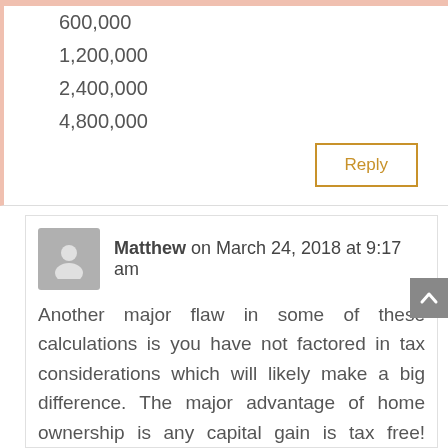600,000
1,200,000
2,400,000
4,800,000
Matthew on March 24, 2018 at 9:17 am
Another major flaw in some of these calculations is you have not factored in tax considerations which will likely make a big difference. The major advantage of home ownership is any capital gain is tax free! Whereas your share market investment is taxed